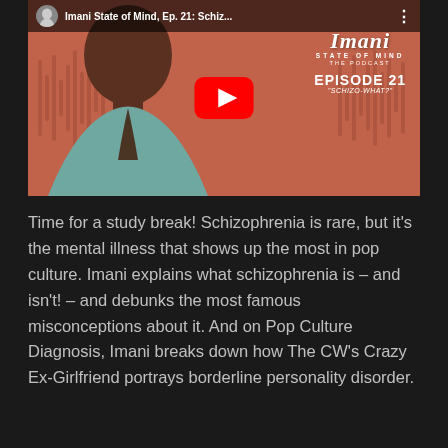[Figure (screenshot): YouTube video thumbnail for 'Imani State of Mind, Ep. 21: Schizo-What?' showing a Black woman in a teal blazer against a coral/orange background with sound wave graphics. The thumbnail shows the Imani State of Mind podcast logo with Episode 21 subtitle 'Schizo-What?' and a YouTube play button overlay.]
Time for a study break! Schizophrenia is rare, but it's the mental illness that shows up the most in pop culture. Imani explains what schizophrenia is – and isn't! – and debunks the most famous misconceptions about it. And on Pop Culture Diagnosis, Imani breaks down how The CW's Crazy Ex-Girlfriend portrays borderline personality disorder.